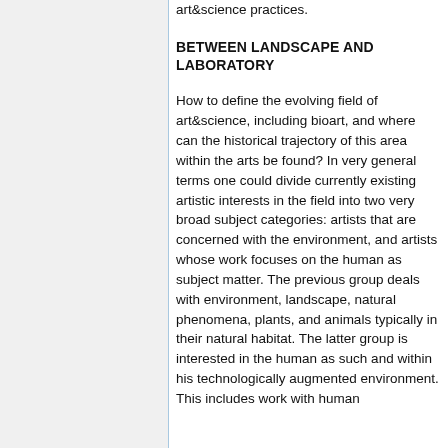art&science practices.
BETWEEN LANDSCAPE AND LABORATORY
How to define the evolving field of art&science, including bioart, and where can the historical trajectory of this area within the arts be found? In very general terms one could divide currently existing artistic interests in the field into two very broad subject categories: artists that are concerned with the environment, and artists whose work focuses on the human as subject matter. The previous group deals with environment, landscape, natural phenomena, plants, and animals typically in their natural habitat. The latter group is interested in the human as such and within his technologically augmented environment. This includes work with human